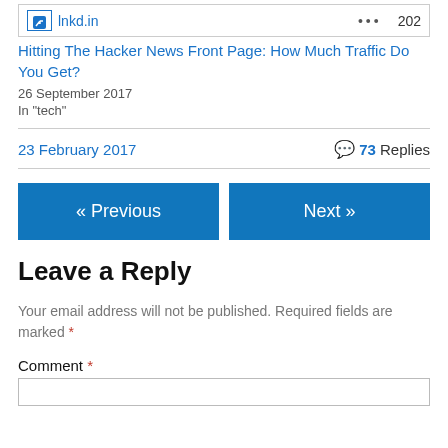lnkd.in  •••  202
Hitting The Hacker News Front Page: How Much Traffic Do You Get?
26 September 2017
In "tech"
23 February 2017  💬 73 Replies
« Previous
Next »
Leave a Reply
Your email address will not be published. Required fields are marked *
Comment *